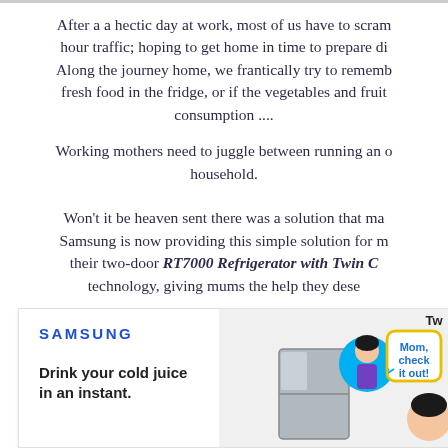After a a hectic day at work, most of us have to scram hour traffic; hoping to get home in time to prepare di Along the journey home, we frantically try to rememb fresh food in the fridge, or if the vegetables and fruit consumption ....
Working mothers need to juggle between running an office and household.
Won't it be heaven sent there was a solution that ma Samsung is now providing this simple solution for m their two-door RT7000 Refrigerator with Twin C technology, giving mums the help they dese
[Figure (screenshot): Samsung advertisement card showing the Samsung logo in blue, tagline 'Drink your cold juice in an instant.', and an illustration of a woman with a speech bubble saying 'Mom, check it out!' with 'Tw' visible at the top right.]